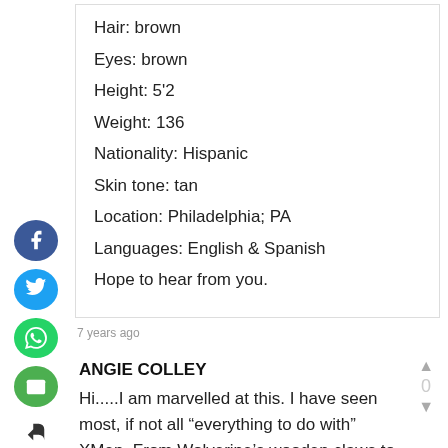Hair: brown
Eyes: brown
Height: 5'2
Weight: 136
Nationality: Hispanic
Skin tone: tan
Location: Philadelphia; PA
Languages: English & Spanish
Hope to hear from you.
7 years ago
ANGIE COLLEY
Hi.....I am marvelled at this. I have seen most, if not all “everything to do with” XMen. From Wolverine’s wooden claws to his now highly